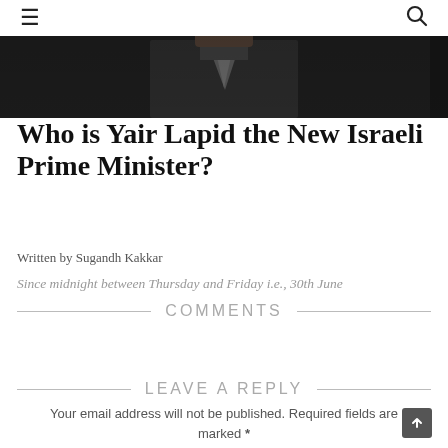☰  🔍
[Figure (photo): Dark photo showing a man in a suit and tie, partially visible at top of page]
Who is Yair Lapid the New Israeli Prime Minister?
Written by Sugandh Kakkar
Since midnight between Thursday and Friday i.e., 30th June
COMMENTS
LEAVE A REPLY
Your email address will not be published. Required fields are marked *